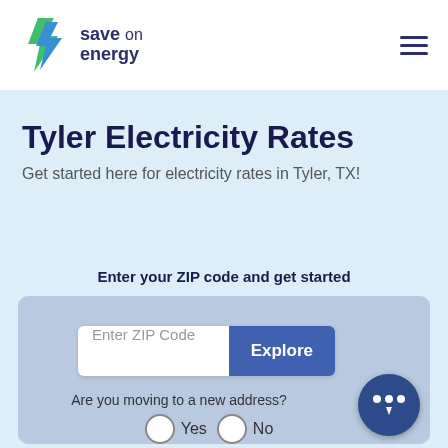save on energy — navigation header with logo and hamburger menu
Tyler Electricity Rates
Get started here for electricity rates in Tyler, TX!
Enter your ZIP code and get started
[Figure (screenshot): ZIP code entry form with input field showing 'Enter ZIP Code' placeholder and blue 'Explore' button, followed by 'Are you moving to a new address?' with Yes/No radio buttons, and a chat bubble icon in the bottom-right corner.]